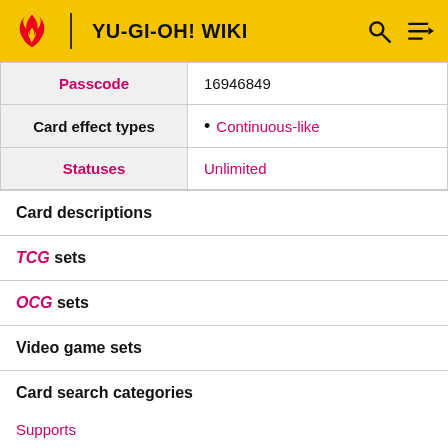YU-GI-OH! WIKI
| Label | Value |
| --- | --- |
| Passcode | 16946849 |
| Card effect types | Continuous-like |
| Statuses | Unlimited |
Card descriptions
TCG sets
OCG sets
Video game sets
Card search categories
Supports
Counter Trap Card
Anti-supports
Counter Trap Card